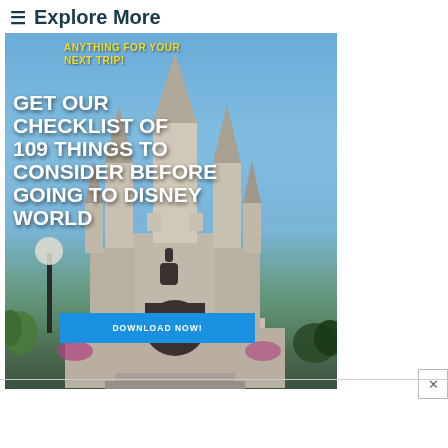≡ Explore More
[Figure (photo): Disney World Cinderella Castle photo with overlay text promoting a checklist download. Yellow text at top reads 'ANYTHING FOR YOUR NEXT TRIP!', large white bold text reads 'GET OUR CHECKLIST OF 109 THINGS TO CONSIDER BEFORE GOING TO DISNEY WORLD', blue button reads 'DOWNLOAD NOW!']